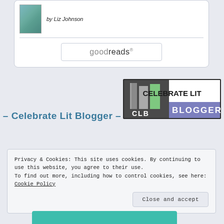[Figure (illustration): Book cover thumbnail by Liz Johnson with goodreads button in a rounded white box]
- Celebrate Lit Blogger -
[Figure (logo): Celebrate Lit Blogger logo with CLB books icon and purple/white badge]
Privacy & Cookies: This site uses cookies. By continuing to use this website, you agree to their use.
To find out more, including how to control cookies, see here: Cookie Policy
Close and accept